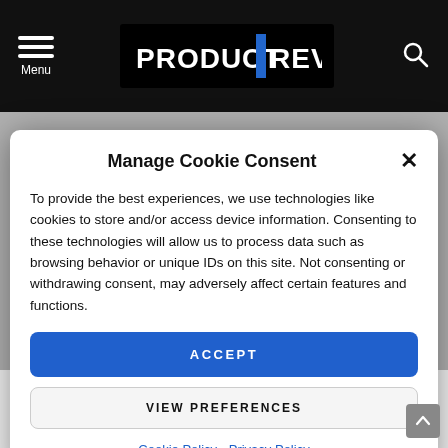PRODUCT REVIEWS — Menu
Manage Cookie Consent
To provide the best experiences, we use technologies like cookies to store and/or access device information. Consenting to these technologies will allow us to process data such as browsing behavior or unique IDs on this site. Not consenting or withdrawing consent, may adversely affect certain features and functions.
ACCEPT
VIEW PREFERENCES
Cookie Policy  Privacy Policy
This Lanai Folding Rattan lounger is revealing to be a top seller at Studio for those looking for a more cushioned